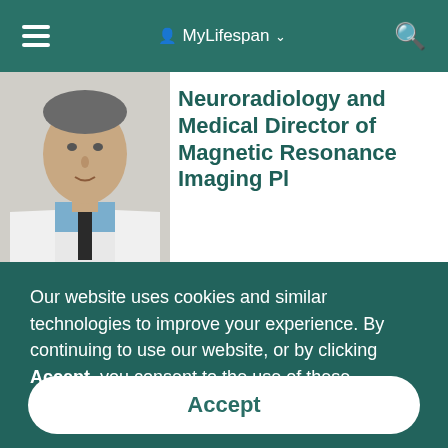MyLifespan
[Figure (photo): Doctor in white coat with blue shirt and dark tie, headshot/portrait photo]
Neuroradiology and Medical Director of Magnetic Resonance Imaging Pl...
Our website uses cookies and similar technologies to improve your experience. By continuing to use our website, or by clicking Accept, you consent to the use of these technologies.
Accept